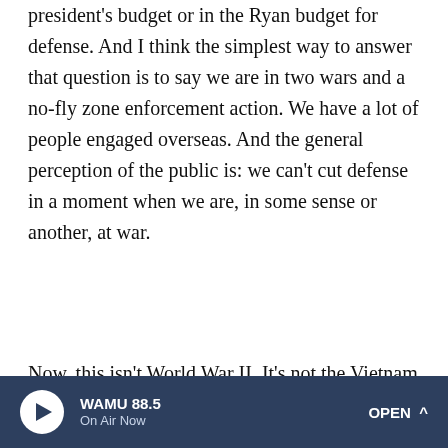president's budget or in the Ryan budget for defense. And I think the simplest way to answer that question is to say we are in two wars and a no-fly zone enforcement action. We have a lot of people engaged overseas. And the general perception of the public is: we can't cut defense in a moment when we are, in some sense or another, at war.
Now, this isn't World War II. It's not the Vietnam War. But we do have a lot of commitments overseas, including a couple of hot wars. And the polls all show that people think that we should support our troops. And when you get right down into all of the problematic detail on how many weapon systems we're buying that don't have anything to do with those wars, surely, you could find savings. But the politicians
WAMU 88.5 On Air Now OPEN